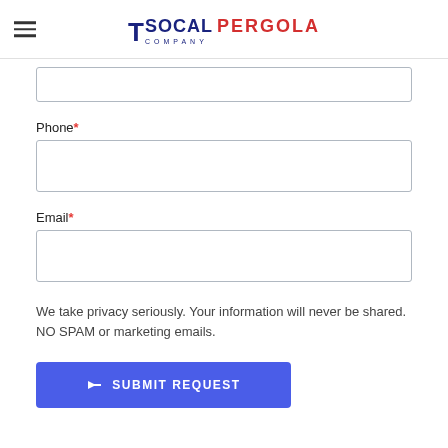SoCal Pergola Company
Phone*
Email*
We take privacy seriously. Your information will never be shared. NO SPAM or marketing emails.
SUBMIT REQUEST